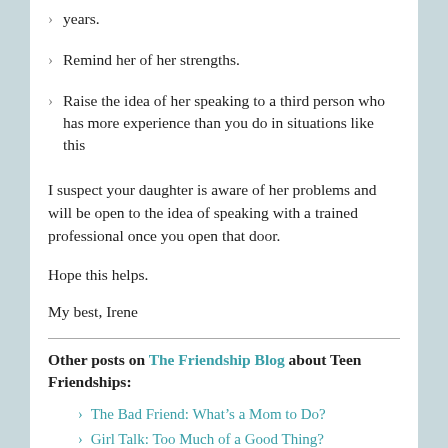years.
Remind her of her strengths.
Raise the idea of her speaking to a third person who has more experience than you do in situations like this
I suspect your daughter is aware of her problems and will be open to the idea of speaking with a trained professional once you open that door.
Hope this helps.
My best, Irene
Other posts on The Friendship Blog about Teen Friendships:
The Bad Friend: What’s a Mom to Do?
Girl Talk: Too Much of a Good Thing?
Middle School Frenemies: Why are Girls so Mean?
Can this teen friendship be saved?